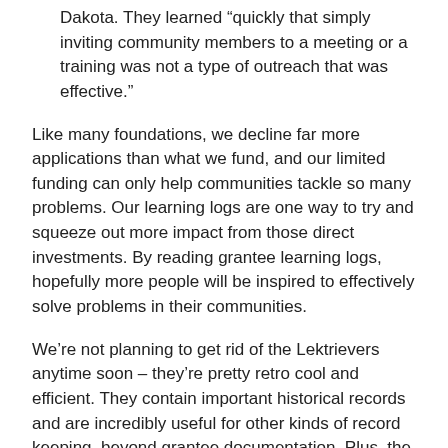Dakota. They learned “quickly that simply inviting community members to a meeting or a training was not a type of outreach that was effective.”
Like many foundations, we decline far more applications than what we fund, and our limited funding can only help communities tackle so many problems. Our learning logs are one way to try and squeeze out more impact from those direct investments. By reading grantee learning logs, hopefully more people will be inspired to effectively solve problems in their communities.
We’re not planning to get rid of the Lektrievers anytime soon – they’re pretty retro cool and efficient. They contain important historical records and are incredibly useful for other kinds of record keeping, beyond grantee documentation. Plus, the floor hasn’t fallen in yet. But, as Bush Foundation Communications Director Dominick Washington put it, now we’re unleashing the knowledge, “getting it out of those cabinets, and to people who can use it.”
– Mandy Ellerton and Molly Matheson G...